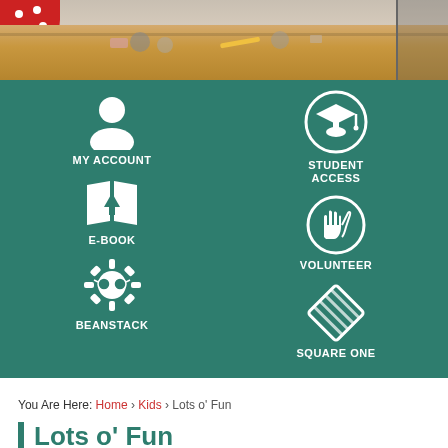[Figure (photo): Photo of a wooden table with craft/maker supplies and someone in a red polka dot outfit]
[Figure (infographic): Teal green navigation panel with 6 icons: My Account (person icon), Student Access (graduation cap in circle), E-Book (open book with down arrow), Volunteer (raised hands in circle), Beanstack (gear with sunglasses), Square One (diamond with stripes)]
You Are Here: Home › Kids › Lots o' Fun
Lots o' Fun